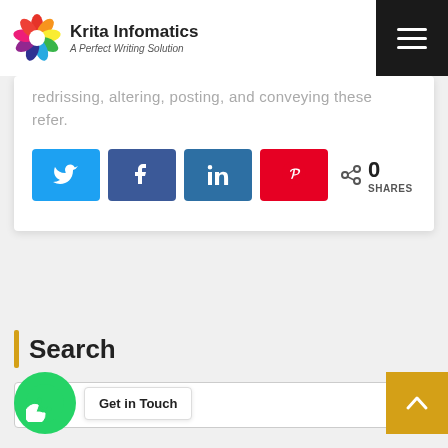[Figure (logo): Krita Infomatics logo with colorful swirl icon and text 'Krita Infomatics / A Perfect Writing Solution']
redrissing, altering, posting, and conveying these refer.
[Figure (infographic): Social share buttons: Twitter, Facebook, LinkedIn, Pinterest, and a share count showing 0 SHARES]
Search
[Figure (screenshot): Search input box with magnifying glass icon]
[Figure (infographic): WhatsApp contact button with 'Get in Touch' tooltip and scroll-to-top button]